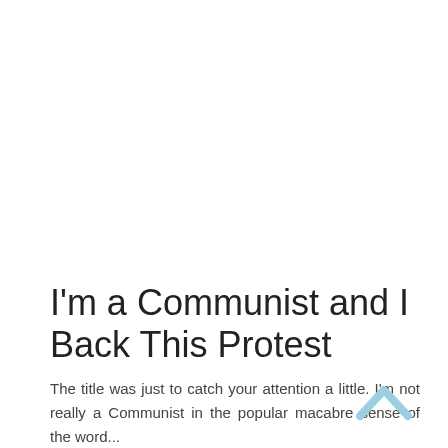I'm a Communist and I Back This Protest
The title was just to catch your attention a little. I'm not really a Communist in the popular macabre sense of the word...